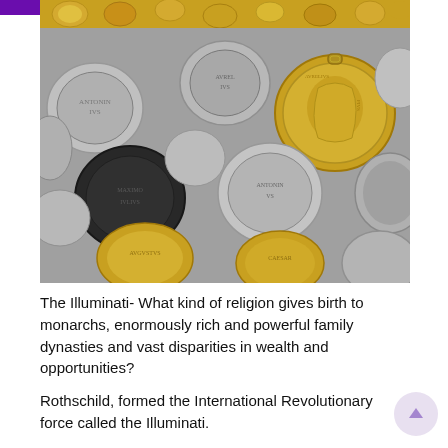[Figure (photo): Partial top strip showing gold coins, cropped from another image above]
[Figure (photo): Large photograph of a pile of ancient Roman gold and silver coins scattered together, with one prominent gold coin medallion in upper right area]
The Illuminati-  What kind of religion gives birth to monarchs, enormously rich and powerful family dynasties and vast disparities in wealth and opportunities?
Rothschild, formed the International Revolutionary force called the Illuminati.